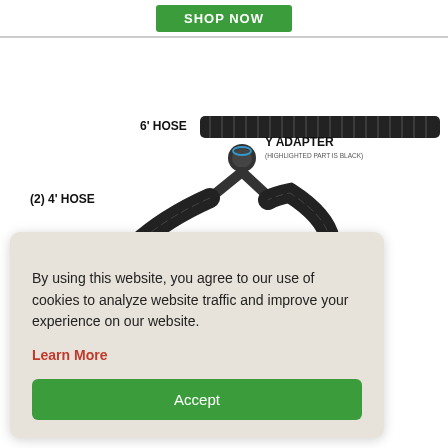[Figure (illustration): Product diagram showing hose kit components: 6 foot hose (long corrugated black hose at top), Y adapter (blue-accented connector), (2) 4 foot hoses (forming a loop/curve), and (2) adapters (short black cylindrical connectors)]
By using this website, you agree to our use of cookies to analyze website traffic and improve your experience on our website.
Learn More
Accept